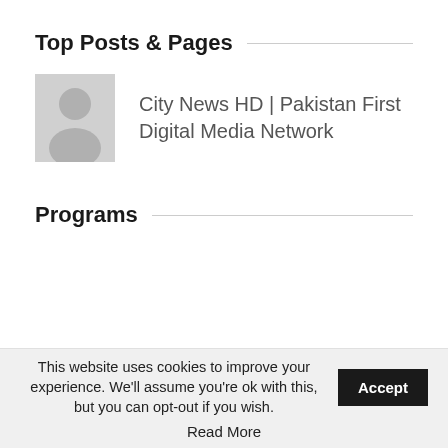Top Posts & Pages
[Figure (illustration): Gray placeholder avatar icon showing a generic person silhouette]
City News HD | Pakistan First Digital Media Network
Programs
This website uses cookies to improve your experience. We'll assume you're ok with this, but you can opt-out if you wish.
Accept
Read More